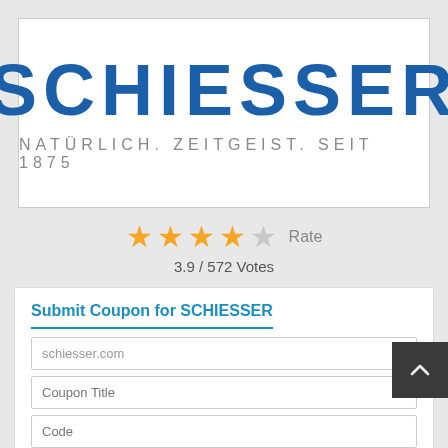[Figure (logo): Schiesser brand logo: large bold blue text 'SCHIESSER' with tagline 'NATÜRLICH. ZEITGEIST. SEIT 1875' in grey below]
★★★★☆  Rate
3.9 / 572 Votes
Submit Coupon for SCHIESSER
schiesser.com
Coupon Title
Code
Description
Expiry